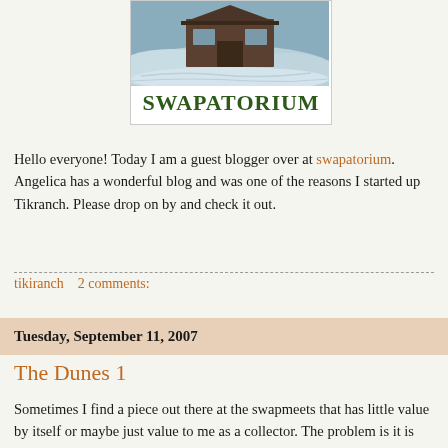[Figure (photo): Swapatorium blog logo with snowy winter scene photo above the text SWAPATORIUM in dark green bold letters]
Hello everyone! Today I am a guest blogger over at swapatorium. Angelica has a wonderful blog and was one of the reasons I started up Tikranch. Please drop on by and check it out.
tikiranch    2 comments:
Tuesday, September 11, 2007
The Dunes 1
Sometimes I find a piece out there at the swapmeets that has little value by itself or maybe just value to me as a collector. The problem is it is part of something else that the seller will not seperate it from. So many times I have to leave it when I know the future buyer will probably toss the thing that I wanted. What the